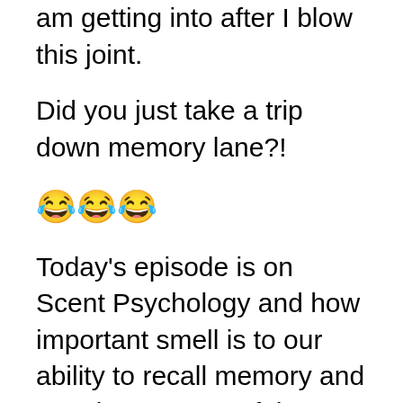am getting into after I blow this joint.
Did you just take a trip down memory lane?!
😂😂😂
Today's episode is on Scent Psychology and how important smell is to our ability to recall memory and emotions! Some of the stats will blow your mind. 🤯